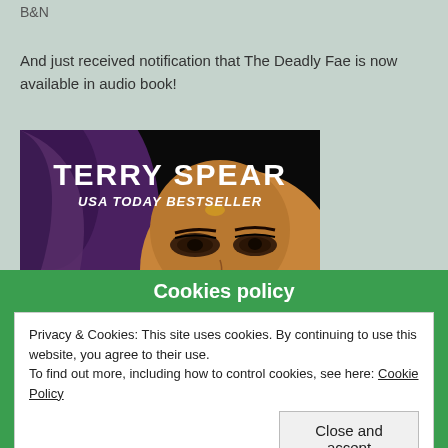B&N
And just received notification that The Deadly Fae is now available in audio book!
[Figure (photo): Book cover image showing a woman in a purple veil with text 'TERRY SPEAR USA TODAY BESTSELLER' in white on a dark background]
Cookies policy
Privacy & Cookies: This site uses cookies. By continuing to use this website, you agree to their use.
To find out more, including how to control cookies, see here: Cookie Policy
Close and accept